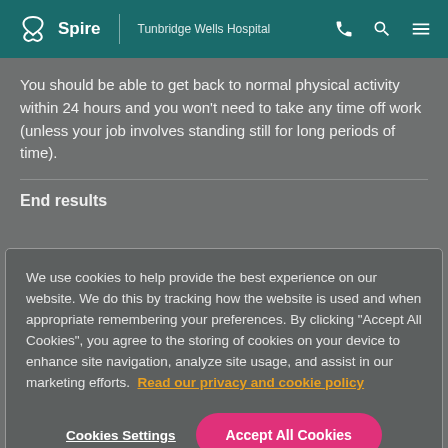Spire | Tunbridge Wells Hospital
You should be able to get back to normal physical activity within 24 hours and you won't need to take any time off work (unless your job involves standing still for long periods of time).
End results
We use cookies to help provide the best experience on our website. We do this by tracking how the website is used and when appropriate remembering your preferences. By clicking "Accept All Cookies", you agree to the storing of cookies on your device to enhance site navigation, analyze site usage, and assist in our marketing efforts. Read our privacy and cookie policy
Cookies Settings | Accept All Cookies